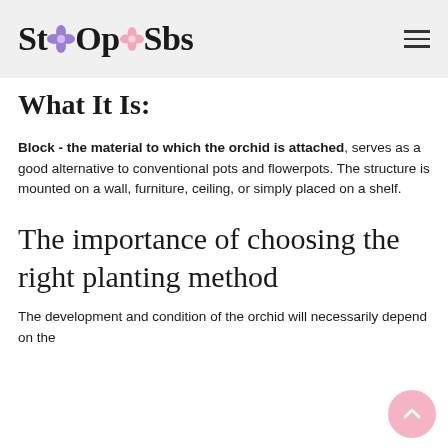StⓌOpⓌSbs (logo with flower icons)
What It Is:
Block - the material to which the orchid is attached, serves as a good alternative to conventional pots and flowerpots. The structure is mounted on a wall, furniture, ceiling, or simply placed on a shelf.
The importance of choosing the right planting method
The development and condition of the orchid will necessarily depend on the